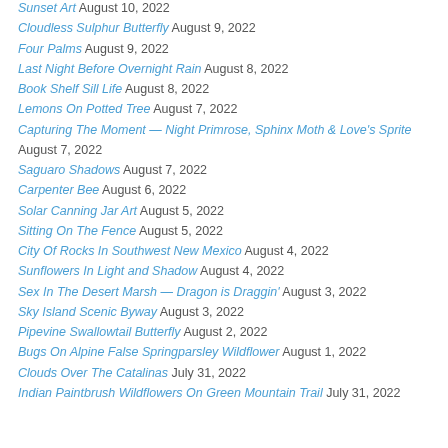Sunset Art August 10, 2022
Cloudless Sulphur Butterfly August 9, 2022
Four Palms August 9, 2022
Last Night Before Overnight Rain August 8, 2022
Book Shelf Sill Life August 8, 2022
Lemons On Potted Tree August 7, 2022
Capturing The Moment — Night Primrose, Sphinx Moth & Love's Sprite August 7, 2022
Saguaro Shadows August 7, 2022
Carpenter Bee August 6, 2022
Solar Canning Jar Art August 5, 2022
Sitting On The Fence August 5, 2022
City Of Rocks In Southwest New Mexico August 4, 2022
Sunflowers In Light and Shadow August 4, 2022
Sex In The Desert Marsh — Dragon is Draggin' August 3, 2022
Sky Island Scenic Byway August 3, 2022
Pipevine Swallowtail Butterfly August 2, 2022
Bugs On Alpine False Springparsley Wildflower August 1, 2022
Clouds Over The Catalinas July 31, 2022
Indian Paintbrush Wildflowers On Green Mountain Trail July 31, 2022